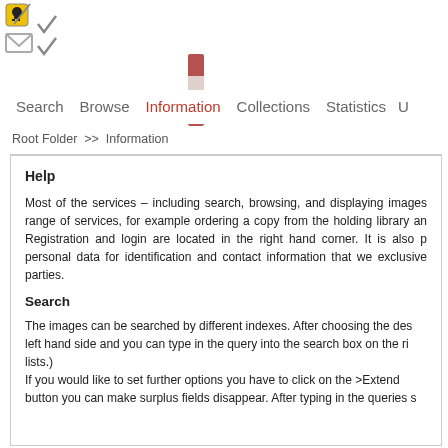[Figure (logo): Logo with hazard icon and checkmark, envelope and checkmark icons in top-left area]
[Figure (other): Vertical scrollbar with dark red top and bottom sections and light middle thumb]
Search   Browse   Information   Collections   Statistics   U
Root Folder >> Information
Help
Most of the services – including search, browsing, and displaying images range of services, for example ordering a copy from the holding library an Registration and login are located in the right hand corner. It is also p personal data for identification and contact information that we exclusive parties.
Search
The images can be searched by different indexes. After choosing the des left hand side and you can type in the query into the search box on the ri lists.) If you would like to set further options you have to click on the >Extend button you can make surplus fields disappear. After typing in the queries s